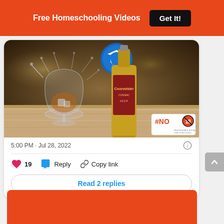Free Homeschooling Videos  Get It!
[Figure (photo): A bottle of Courvoisier cognac beside a brandy snifter glass with liquid splashing, on a wooden surface, with a blue arrow sign and a #NO18 logo in the corner]
5:00 PM · Jul 28, 2022
19  Reply  Copy link
Read 2 replies
[Figure (other): Orange/red rectangular block at the bottom of the page]